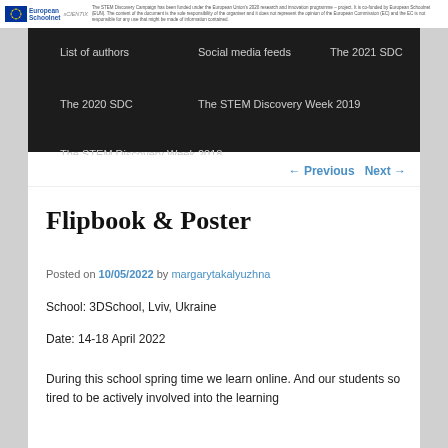The STEM Discovery Campaign has been funded under the European Union's 2020 research and innovation programme – project. It is co-funded by European Schoolnet (EUN). The content of the document is the sole responsibility of the organiser and it does not represent the opinion of the European Commission (EC) and the EC is not responsible for any use that might be made of information contained.
List of authors
Social media feeds
The 2021 SDC
The 2020 SDC
The STEM Discovery Week 2019
The STEM Discovery Week 2018
← Previous   Next →
Flipbook & Poster
Posted on 10/05/2022 by margarytakalyuzhna
School: 3DSchool, Lviv, Ukraine
Date: 14-18 April 2022
During this school spring time we learn online. And our students so tired to be actively involved into the learning